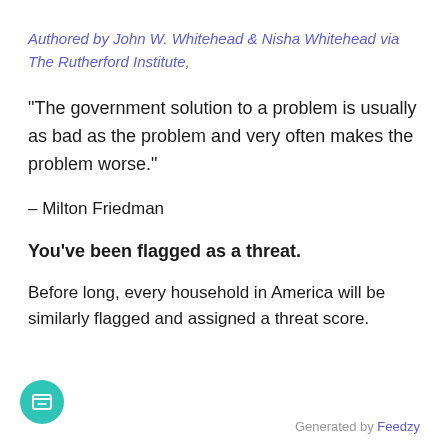Authored by John W. Whitehead & Nisha Whitehead via The Rutherford Institute,
“The government solution to a problem is usually as bad as the problem and very often makes the problem worse.”
– Milton Friedman
You’ve been flagged as a threat.
Before long, every household in America will be similarly flagged and assigned a threat score.
Generated by Feedzy